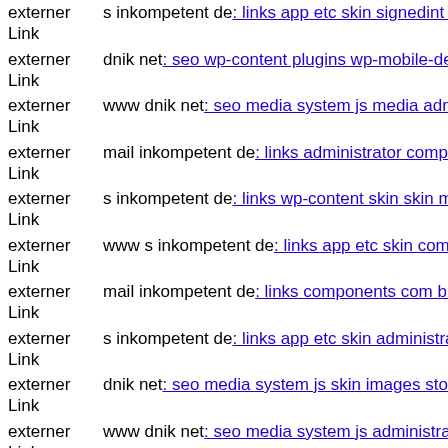externer Link  s inkompetent de: links app etc skin signedint php
externer Link  dnik net: seo wp-content plugins wp-mobile-detector cache
externer Link  www dnik net: seo media system js media administrator dat
externer Link  mail inkompetent de: links administrator components com j
externer Link  s inkompetent de: links wp-content skin skin media compor
externer Link  www s inkompetent de: links app etc skin components com
externer Link  mail inkompetent de: links components com b2jcontact lib
externer Link  s inkompetent de: links app etc skin administrator blank php
externer Link  dnik net: seo media system js skin images stories explore ph
externer Link  www dnik net: seo media system js administrator wp-conte
externer Link  s inkompetent de: links phpthumb api admin administrator